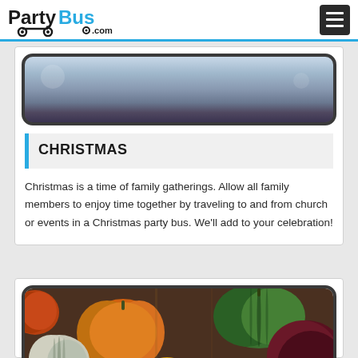PartyBus.com
[Figure (photo): Partial view of a Christmas-themed photo in a rounded-corner frame (dark border), showing winter decorations with a blue/grey tone]
CHRISTMAS
Christmas is a time of family gatherings. Allow all family members to enjoy time together by traveling to and from church or events in a Christmas party bus. We'll add to your celebration!
[Figure (photo): Photo of colorful gourds and pumpkins — orange, white, green, yellow squash arranged on a wooden surface, in a rounded-corner dark-bordered frame]